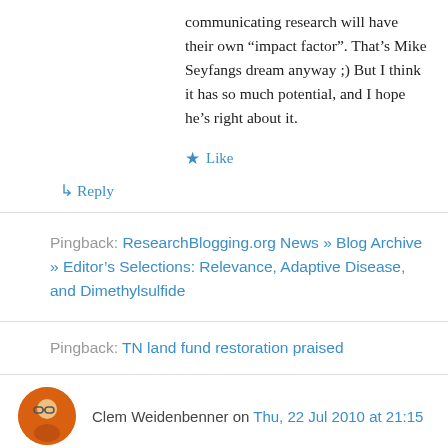communicating research will have their own “impact factor”. That’s Mike Seyfangs dream anyway ;) But I think it has so much potential, and I hope he’s right about it.
★ Like
↳ Reply
Pingback: ResearchBlogging.org News » Blog Archive » Editor’s Selections: Relevance, Adaptive Disease, and Dimethylsulfide
Pingback: TN land fund restoration praised
Clem Weidenbenner on Thu, 22 Jul 2010 at 21:15